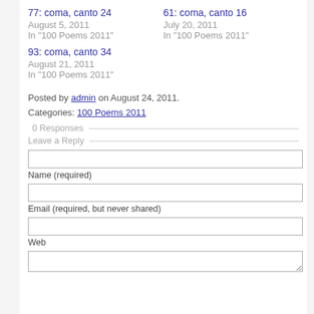77: coma, canto 24
August 5, 2011
In "100 Poems 2011"
61: coma, canto 16
July 20, 2011
In "100 Poems 2011"
93: coma, canto 34
August 21, 2011
In "100 Poems 2011"
Posted by admin on August 24, 2011.
Categories: 100 Poems 2011
0 Responses
Leave a Reply
Name (required)
Email (required, but never shared)
Web